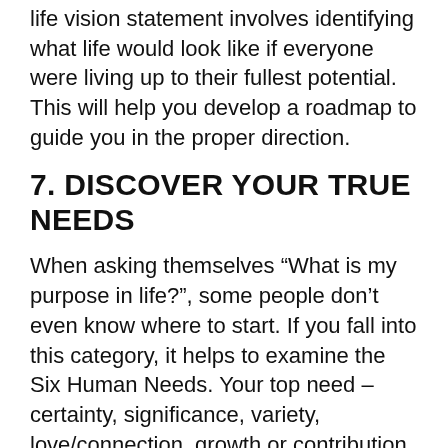life vision statement involves identifying what life would look like if everyone were living up to their fullest potential. This will help you develop a roadmap to guide you in the proper direction.
7. DISCOVER YOUR TRUE NEEDS
When asking themselves “What is my purpose in life?”, some people don’t even know where to start. If you fall into this category, it helps to examine the Six Human Needs. Your top need – certainty, significance, variety, love/connection, growth or contribution – affects every decision you make.
Lack of awareness about your own needs can leave you with a false sense of purpose – one that